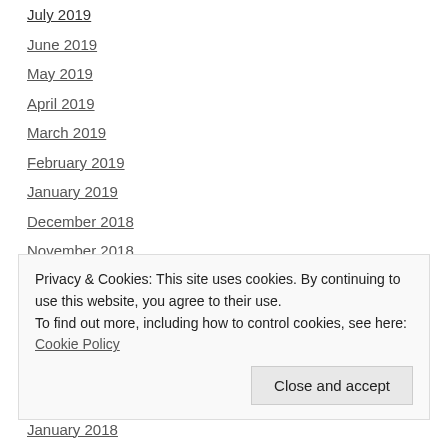July 2019
June 2019
May 2019
April 2019
March 2019
February 2019
January 2019
December 2018
November 2018
October 2018
September 2018
August 2018
July 2018 (partial)
Privacy & Cookies: This site uses cookies. By continuing to use this website, you agree to their use.
To find out more, including how to control cookies, see here: Cookie Policy
January 2018